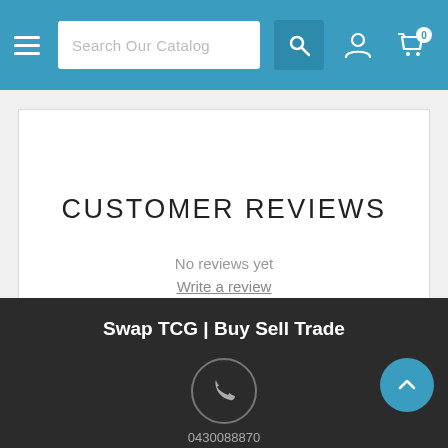[Figure (screenshot): E-commerce website header navigation bar with hamburger menu, search field labeled 'Search Our Catalog', search icon, user account icon, and shopping cart icon with badge showing 0. Background is teal/blue color.]
CUSTOMER REVIEWS
No reviews yet
Write a review
Swap TCG | Buy Sell Trade
[Figure (illustration): Phone/call icon inside a circle on dark footer background]
0430088870